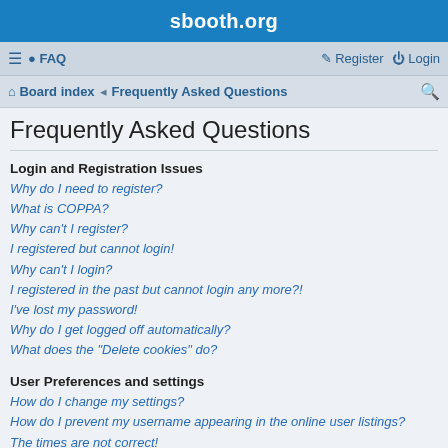sbooth.org
≡  FAQ   Register  Login
Board index · Frequently Asked Questions
Frequently Asked Questions
Login and Registration Issues
Why do I need to register?
What is COPPA?
Why can't I register?
I registered but cannot login!
Why can't I login?
I registered in the past but cannot login any more?!
I've lost my password!
Why do I get logged off automatically?
What does the "Delete cookies" do?
User Preferences and settings
How do I change my settings?
How do I prevent my username appearing in the online user listings?
The times are not correct!
I changed the timezone and the time is still wrong!
My language is not in the list!
What are the images next to my username?